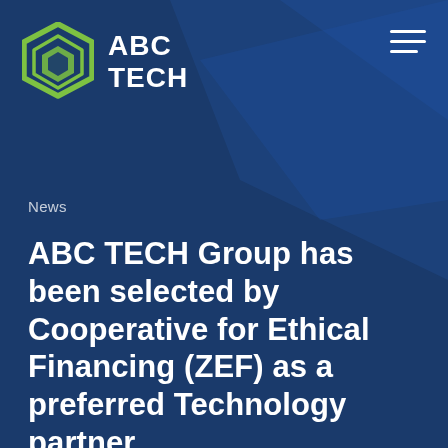[Figure (logo): ABC TECH logo with green hexagon icon and white bold text 'ABC TECH' beside it, on dark blue background. Top-right corner has a hamburger menu icon (three white horizontal lines).]
News
ABC TECH Group has been selected by Cooperative for Ethical Financing (ZEF) as a preferred Technology partner